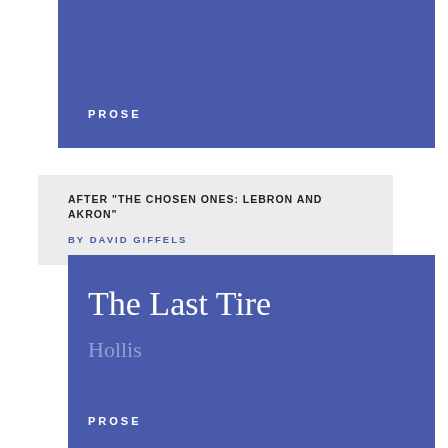PROSE
AFTER "THE CHOSEN ONES: LEBRON AND AKRON"
BY DAVID GIFFELS
The Last Tire
Hollis
PROSE